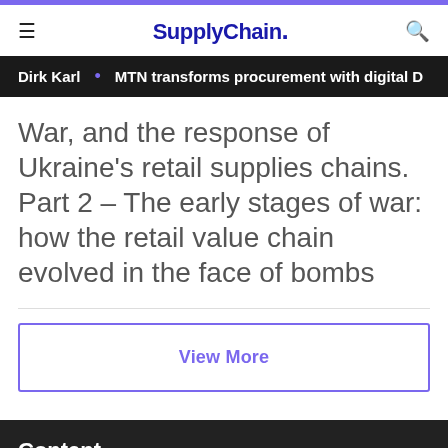SupplyChain.
Dirk Karl • MTN transforms procurement with digital D
War, and the response of Ukraine's retail supplies chains. Part 2 - The early stages of war: how the retail value chain evolved in the face of bombs
View More
Content
More